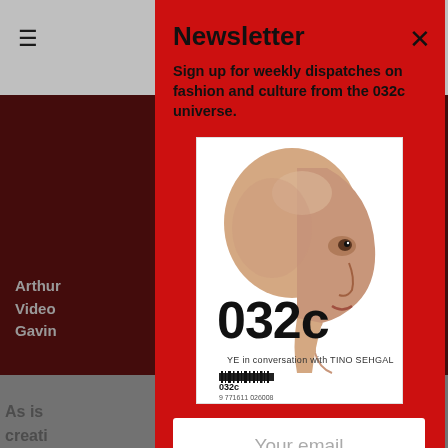Newsletter
Sign up for weekly dispatches on fashion and culture from the 032c universe.
[Figure (photo): 032c magazine cover featuring a sculptural face/head illustration and the text '032c' in large bold letters, with subtitle 'YE in conversation with TINO SEHGAL' and a barcode at the bottom.]
Your email
Subscribe